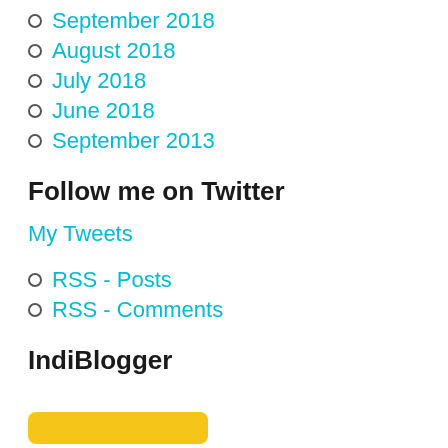September 2018
August 2018
July 2018
June 2018
September 2013
Follow me on Twitter
My Tweets
RSS - Posts
RSS - Comments
IndiBlogger
[Figure (other): Yellow rounded button/badge at bottom of page]